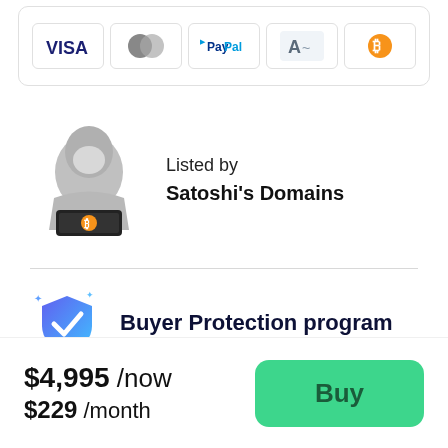[Figure (illustration): Payment method icons: Visa, Mastercard, PayPal, Alipay, Bitcoin in card boxes]
Listed by
Satoshi's Domains
[Figure (illustration): Anonymous hooded figure with Bitcoin laptop icon representing seller]
[Figure (illustration): Shield with checkmark icon representing Buyer Protection program]
Buyer Protection program
[Figure (illustration): Paper plane icon for Fast transfer section]
$4,995 /now
$229 /month
[Figure (illustration): Buy button - green rounded rectangle with text Buy]